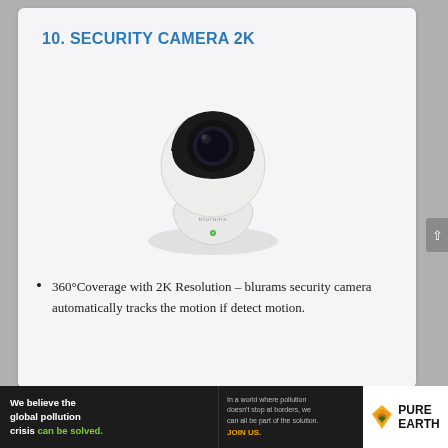10. SECURITY CAMERA 2K
[Figure (photo): White smart security camera with pan-tilt design, black lens, and green indicator light on base. Brand text visible on base.]
360°Coverage with 2K Resolution – blurams security camera automatically tracks the motion if detect motion.
[Figure (infographic): Pure Earth advertisement banner. Left dark section: 'We believe the global pollution crisis can be solved.' Middle dark section: 'In a world where pollution doesn't stop at borders, we can all be part of the solution. JOIN US.' Right white section: Pure Earth logo with diamond/triangle icon.]